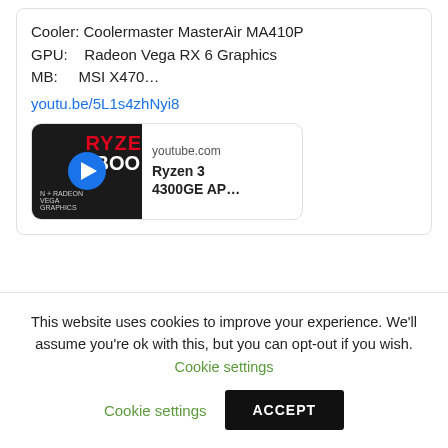Cooler: Coolermaster MasterAir MA410P
GPU:    Radeon Vega RX 6 Graphics
MB:     MSI X470…
youtu.be/5L1s4zhNyi8
[Figure (screenshot): YouTube video embed card showing thumbnail with RYZE text, play button, youtube.com label, and title 'Ryzen 3 4300GE AP...']
ARCHIVES
This website uses cookies to improve your experience. We'll assume you're ok with this, but you can opt-out if you wish. Cookie settings ACCEPT